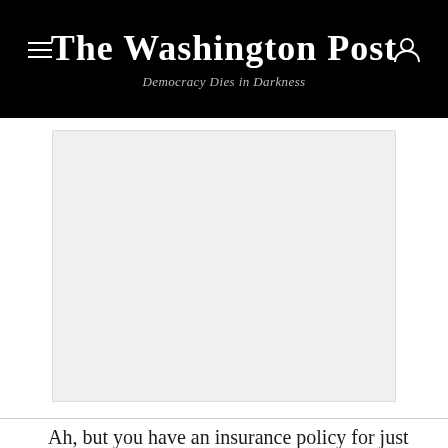The Washington Post
Democracy Dies in Darkness
[Figure (photo): Large gray placeholder/image area below the header]
Ah, but you have an insurance policy for just this sort of thing. At this point, if you have the endorsement on your insurance policy, it may cover you for this special